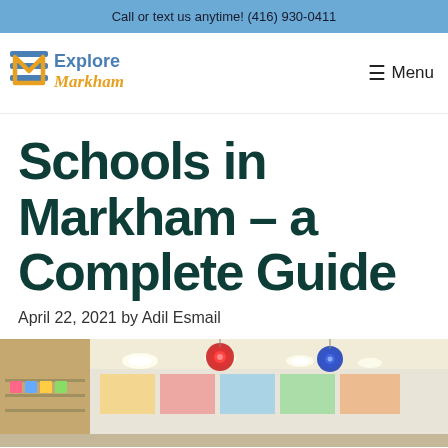Call or text us anytime! (416) 930-0411
[Figure (logo): Explore Markham logo with stylized EM icon in blue and gold]
Menu
Schools in Markham – a Complete Guide
April 22, 2021 by Adil Esmail
[Figure (photo): Interior of a school hallway/classroom with colorful hanging decorations (red and blue paper flowers), bright ceiling lights, and educational displays on the walls]